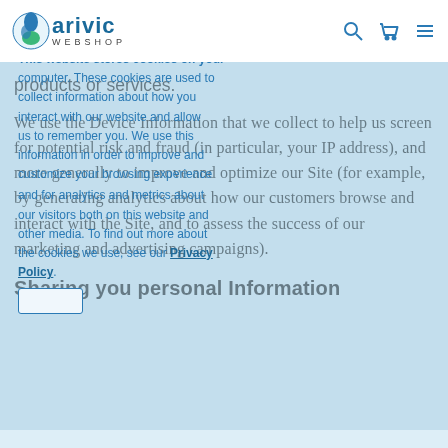arivic WEBSHOP
This website stores cookies on your computer. These cookies are used to collect information about how you interact with our website and allow us to remember you. We use this information in order to improve and customize your browsing experience and for analytics and metrics about our visitors both on this website and other media. To find out more about the cookies we use, see our Privacy Policy.
products or services.
We use the Device Information that we collect to help us screen for potential risk and fraud (in particular, your IP address), and more generally to improve and optimize our Site (for example, by generating analytics about how our customers browse and interact with the Site, and to assess the success of our marketing and advertising campaigns).
Sharing you personal Information